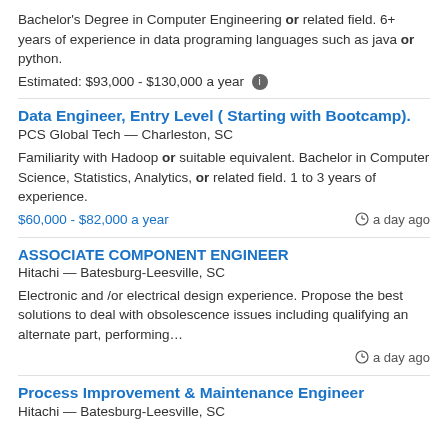Bachelor's Degree in Computer Engineering or related field. 6+ years of experience in data programing languages such as java or python.
Estimated: $93,000 - $130,000 a year
Data Engineer, Entry Level ( Starting with Bootcamp).
PCS Global Tech — Charleston, SC
Familiarity with Hadoop or suitable equivalent. Bachelor in Computer Science, Statistics, Analytics, or related field. 1 to 3 years of experience.
$60,000 - $82,000 a year    a day ago
ASSOCIATE COMPONENT ENGINEER
Hitachi — Batesburg-Leesville, SC
Electronic and /or electrical design experience. Propose the best solutions to deal with obsolescence issues including qualifying an alternate part, performing…
a day ago
Process Improvement & Maintenance Engineer
Hitachi — Batesburg-Leesville, SC